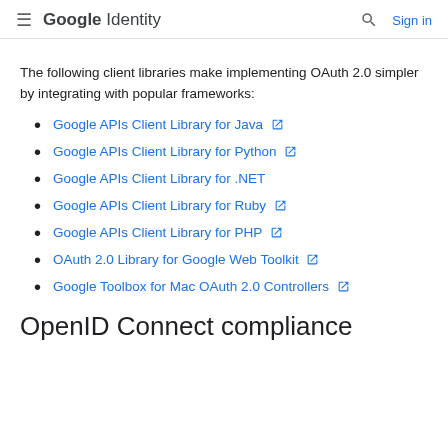Google Identity  Sign in
The following client libraries make implementing OAuth 2.0 simpler by integrating with popular frameworks:
Google APIs Client Library for Java
Google APIs Client Library for Python
Google APIs Client Library for .NET
Google APIs Client Library for Ruby
Google APIs Client Library for PHP
OAuth 2.0 Library for Google Web Toolkit
Google Toolbox for Mac OAuth 2.0 Controllers
OpenID Connect compliance